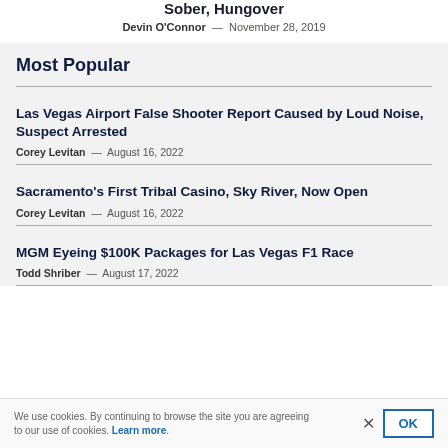Sober, Hungover
Devin O'Connor — November 28, 2019
Most Popular
Las Vegas Airport False Shooter Report Caused by Loud Noise, Suspect Arrested
Corey Levitan — August 16, 2022
Sacramento's First Tribal Casino, Sky River, Now Open
Corey Levitan — August 16, 2022
MGM Eyeing $100K Packages for Las Vegas F1 Race
Todd Shriber — August 17, 2022
We use cookies. By continuing to browse the site you are agreeing to our use of cookies. Learn more.